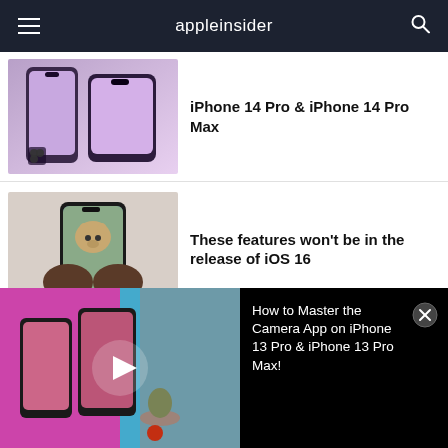appleinsider
[Figure (photo): Purple iPhone 14 Pro and iPhone 14 Pro Max phones]
iPhone 14 Pro & iPhone 14 Pro Max
[Figure (photo): Person holding iPhone with a dog photo on screen]
These features won't be in the release of iOS 16
[Figure (photo): Pixel Buds Pro and AirPods 3 and AirPods accessory comparison]
Compared: Pixel Buds Pro versus AirPods 3 & AirPods
[Figure (screenshot): Video thumbnail showing iPhones with camera app in use]
How to Master the Camera App on iPhone 13 Pro & iPhone 13 Pro Max!